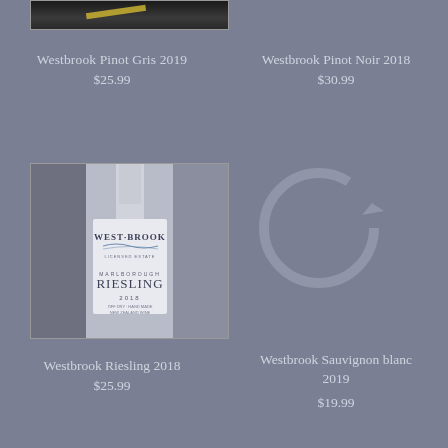[Figure (photo): Partial top of a dark wine bottle, cropped at top of page, left column]
Westbrook Pinot Gris 2019
$25.99
Westbrook Pinot Noir 2018
$30.99
[Figure (photo): Westbrook Marlborough Riesling 2018 wine bottle with white label showing WEST-BROOK branding and MARLBOROUGH RIESLING 2018 text]
[Figure (other): Circular refresh/loading icon outline on right side]
Westbrook Riesling 2018
$25.99
Westbrook Sauvignon blanc 2019
$19.99